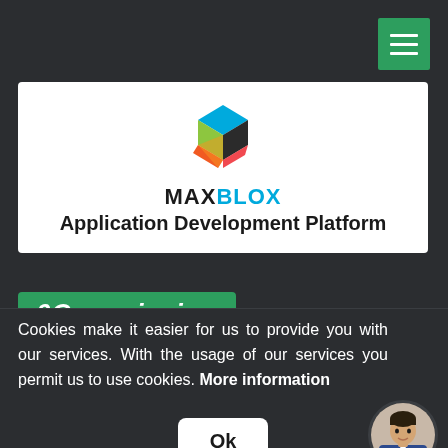[Figure (logo): MaxBlox logo with colorful 3D blocks and text 'MAXBLOX Application Development Platform']
0Commission
Cookies make it easier for us to provide you with our services. With the usage of our services you permit us to use cookies. More information
[Figure (photo): Circular avatar photo of a young man in a suit]
Ok